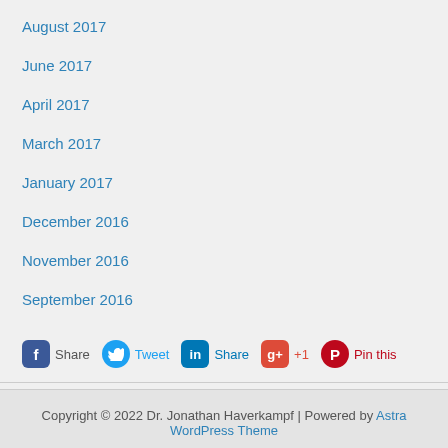August 2017
June 2017
April 2017
March 2017
January 2017
December 2016
November 2016
September 2016
[Figure (other): Social sharing buttons: Facebook Share, Twitter Tweet, LinkedIn Share, Google +1, Pinterest Pin this]
Copyright © 2022 Dr. Jonathan Haverkampf | Powered by Astra WordPress Theme